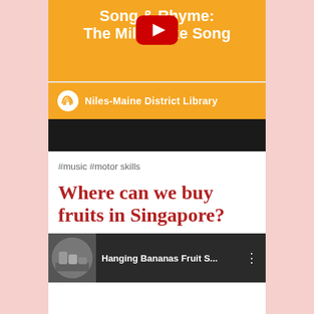[Figure (screenshot): YouTube video thumbnail for 'Song & Rhyme: The Milkshake Song' by Niles-Maine District Library. Orange background with white bold text and YouTube play button overlay. Below is a black bar.]
#music #motor skills
Where can we buy fruits in Singapore?
[Figure (screenshot): YouTube video thumbnail showing 'Hanging Bananas Fruit S...' with a circular thumbnail image on the left and three-dot menu icon on the right. Dark background.]